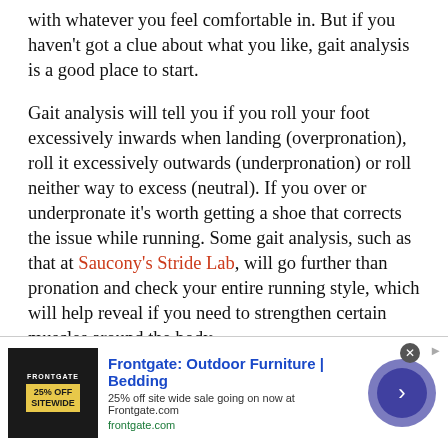with whatever you feel comfortable in. But if you haven't got a clue about what you like, gait analysis is a good place to start.
Gait analysis will tell you if you roll your foot excessively inwards when landing (overpronation), roll it excessively outwards (underpronation) or roll neither way to excess (neutral). If you over or underpronate it's worth getting a shoe that corrects the issue while running. Some gait analysis, such as that at Saucony's Stride Lab, will go further than pronation and check your entire running style, which will help reveal if you need to strengthen certain muscles around the body.
Shoes are the key bit of kit, but you'll also want to have a favourite T-shirt and shorts for race day that
[Figure (other): Advertisement banner for Frontgate: Outdoor Furniture | Bedding. Shows 25% off sitewide sale at Frontgate.com. Contains product image on left, ad text in middle, and a circular arrow navigation button on the right.]